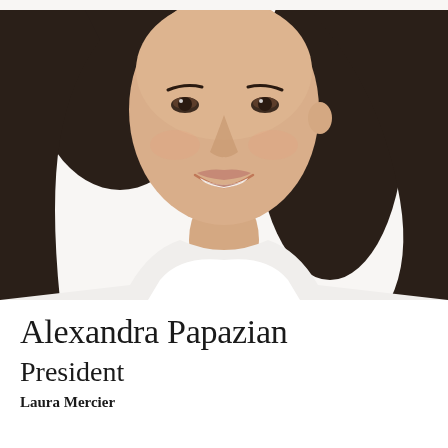[Figure (photo): Professional headshot of Alexandra Papazian, a woman with long dark hair, smiling, wearing a white sleeveless top, against a white background]
Alexandra Papazian
President
Laura Mercier